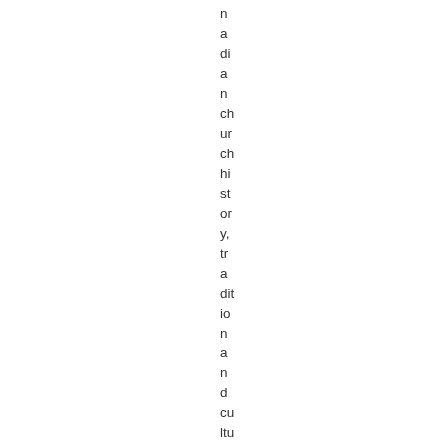n a di a n ch ur ch hi st or y, tr a dit io n a n d cu ltu re , fo r st u d e